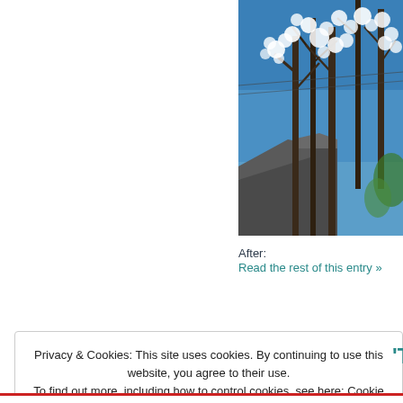[Figure (photo): Photo of blossoming trees with white flowers against a blue sky, with a building roofline visible at lower left. The image is cropped on the left and bottom edges.]
After:
Read the rest of this entry »
Privacy & Cookies: This site uses cookies. By continuing to use this website, you agree to their use.
To find out more, including how to control cookies, see here: Cookie Policy
Close and accept